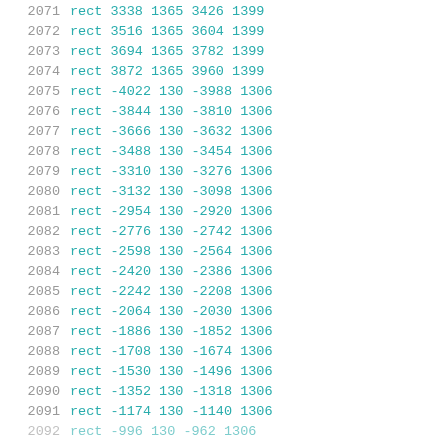2071  rect 3338 1365 3426 1399
2072  rect 3516 1365 3604 1399
2073  rect 3694 1365 3782 1399
2074  rect 3872 1365 3960 1399
2075  rect -4022 130 -3988 1306
2076  rect -3844 130 -3810 1306
2077  rect -3666 130 -3632 1306
2078  rect -3488 130 -3454 1306
2079  rect -3310 130 -3276 1306
2080  rect -3132 130 -3098 1306
2081  rect -2954 130 -2920 1306
2082  rect -2776 130 -2742 1306
2083  rect -2598 130 -2564 1306
2084  rect -2420 130 -2386 1306
2085  rect -2242 130 -2208 1306
2086  rect -2064 130 -2030 1306
2087  rect -1886 130 -1852 1306
2088  rect -1708 130 -1674 1306
2089  rect -1530 130 -1496 1306
2090  rect -1352 130 -1318 1306
2091  rect -1174 130 -1140 1306
2092  rect -996 130 -962 1306 (partial)